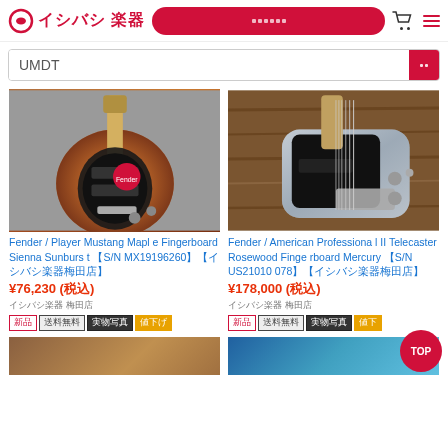イシバシ楽器 (Ishibashi Music) — e-commerce header with logo, search button, cart icon, and menu icon
UMDT (search query)
[Figure (photo): Fender Player Mustang guitar in Sienna Sunburst finish with maple fingerboard, shown against grey background]
Fender / Player Mustang Maple Fingerboard Sienna Sunburst 【S/N MX19196260】【イシバシ楽器梅田店】
¥76,230 (税込)
イシバシ楽器 梅田店
新品 送料無料 実物写真 値下げ
[Figure (photo): Fender American Professional II Telecaster guitar in Mercury (silver/grey) finish with rosewood fingerboard, shown against wooden background]
Fender / American Professional II Telecaster Rosewood Fingerboard Mercury 【S/N US21010078】【イシバシ楽器梅田店】
¥178,000 (税込)
イシバシ楽器 梅田店
新品 送料無料 実物写真 値下げ